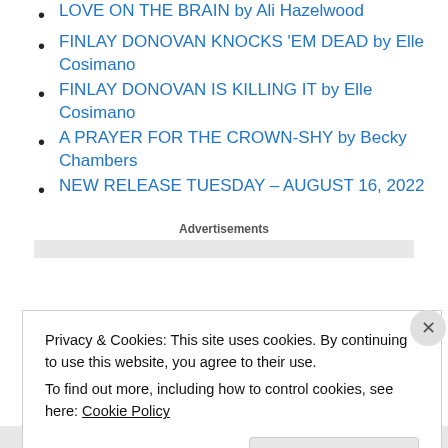LOVE ON THE BRAIN by Ali Hazelwood
FINLAY DONOVAN KNOCKS 'EM DEAD by Elle Cosimano
FINLAY DONOVAN IS KILLING IT by Elle Cosimano
A PRAYER FOR THE CROWN-SHY by Becky Chambers
NEW RELEASE TUESDAY – AUGUST 16, 2022
Advertisements
Privacy & Cookies: This site uses cookies. By continuing to use this website, you agree to their use.
To find out more, including how to control cookies, see here: Cookie Policy
Close and accept